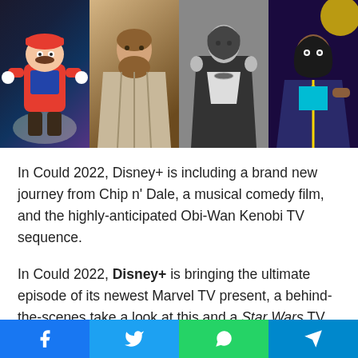[Figure (photo): A horizontal strip of four images: animated Mario character, a bearded man in robes (Obi-Wan Kenobi style), a person in dark dramatic clothing in black and white, and a young woman in colorful attire.]
In Could 2022, Disney+ is including a brand new journey from Chip n' Dale, a musical comedy film, and the highly-anticipated Obi-Wan Kenobi TV sequence.
In Could 2022, Disney+ is bringing the ultimate episode of its newest Marvel TV present, a behind-the-scenes take a look at this and a Star Wars TV present, a special kind of competitors sequence, a musical comedy film, a hybrid/animated film, and a highly-anticipated Star Wars TV sequence. The coronavirus
[Figure (infographic): Social media sharing bar at the bottom with four buttons: Facebook (blue), Twitter (light blue), WhatsApp (green), Telegram (dark blue), each with their respective icons.]